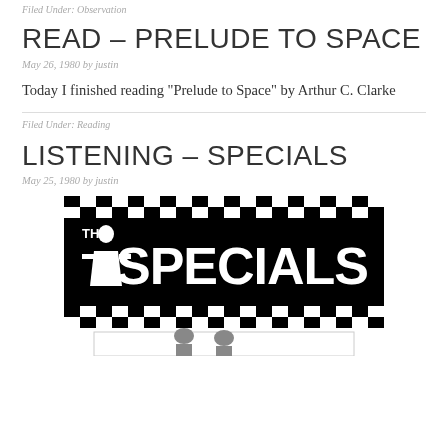Filed Under: Observation
READ – PRELUDE TO SPACE
May 26, 1980 by justin
Today I finished reading “Prelude to Space” by Arthur C. Clarke
Filed Under: Reading
LISTENING – SPECIALS
May 25, 1980 by justin
[Figure (illustration): The Specials band logo with black and white checkered border and a figure in a suit, with a second image partially visible below showing two people]